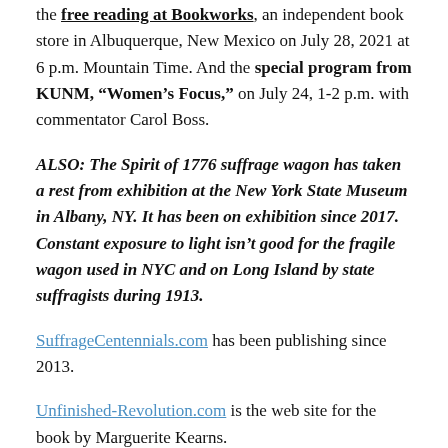the free reading at Bookworks, an independent book store in Albuquerque, New Mexico on July 28, 2021 at 6 p.m. Mountain Time. And the special program from KUNM, "Women's Focus," on July 24, 1-2 p.m. with commentator Carol Boss.
ALSO: The Spirit of 1776 suffrage wagon has taken a rest from exhibition at the New York State Museum in Albany, NY. It has been on exhibition since 2017. Constant exposure to light isn't good for the fragile wagon used in NYC and on Long Island by state suffragists during 1913.
SuffrageCentennials.com has been publishing since 2013.
Unfinished-Revolution.com is the web site for the book by Marguerite Kearns.